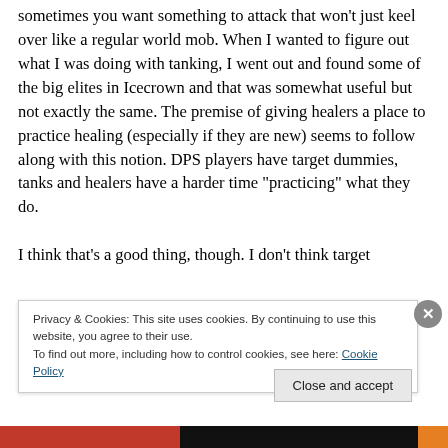sometimes you want something to attack that won't just keel over like a regular world mob. When I wanted to figure out what I was doing with tanking, I went out and found some of the big elites in Icecrown and that was somewhat useful but not exactly the same. The premise of giving healers a place to practice healing (especially if they are new) seems to follow along with this notion. DPS players have target dummies, tanks and healers have a harder time “practicing” what they do.
I think that’s a good thing, though. I don’t think target
Privacy & Cookies: This site uses cookies. By continuing to use this website, you agree to their use.
To find out more, including how to control cookies, see here: Cookie Policy